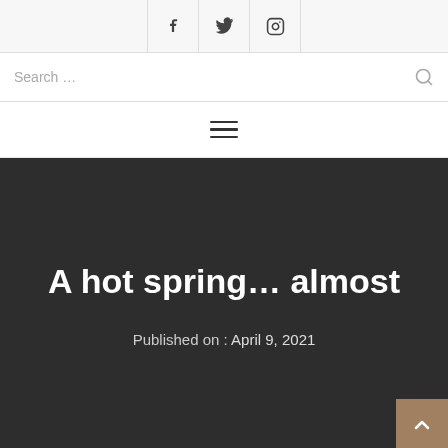Social icons: Facebook, Twitter, Instagram
Search ...
[Figure (other): Hamburger menu icon (three horizontal lines)]
A hot spring… almost
Published on : April 9, 2021